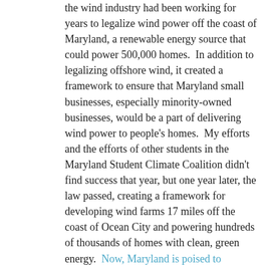the wind industry had been working for years to legalize wind power off the coast of Maryland, a renewable energy source that could power 500,000 homes.  In addition to legalizing offshore wind, it created a framework to ensure that Maryland small businesses, especially minority-owned businesses, would be a part of delivering wind power to people's homes.  My efforts and the efforts of other students in the Maryland Student Climate Coalition didn't find success that year, but one year later, the law passed, creating a framework for developing wind farms 17 miles off the coast of Ocean City and powering hundreds of thousands of homes with clean, green energy.  Now, Maryland is poised to become a leader in offshore wind across the whole United States - but we need to act now to make that dream a reality.
The Public Service Commission is currenty weighing bids to finally construct wind turbines off the coast of Maryland.   The turbines would go on the outer continental shelf, between 10 and 30 miles off the coast of Maryland. Both of the proposed projects are 'below